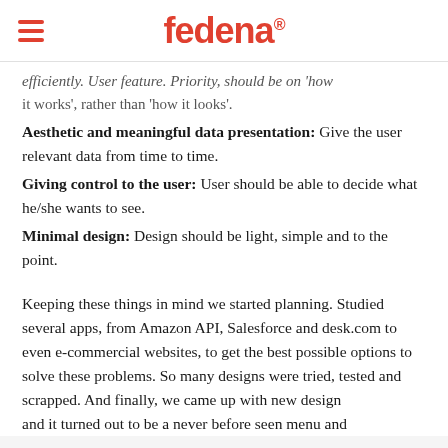fedena
...efficiently. User feature. Priority, should be on 'how it works', rather than 'how it looks'.
Aesthetic and meaningful data presentation: Give the user relevant data from time to time.
Giving control to the user: User should be able to decide what he/she wants to see.
Minimal design: Design should be light, simple and to the point.
Keeping these things in mind we started planning. Studied several apps, from Amazon API, Salesforce and desk.com to even e-commercial websites, to get the best possible options to solve these problems. So many designs were tried, tested and scrapped. And finally, we came up with new design and it turned out to be a never before seen menu and